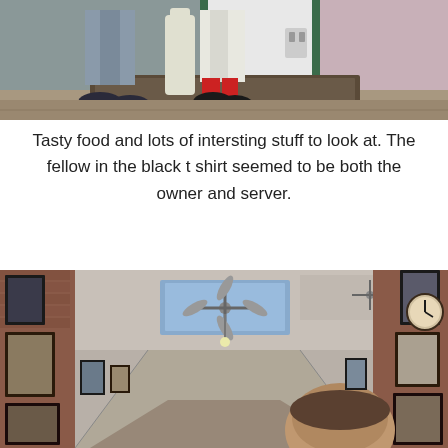[Figure (photo): Close-up photo of two people's lower legs and feet standing on a weathered doormat outside a building with green trim. One person wears grey pants with dark sneakers, the other wears white pants with red socks and black shoes.]
Tasty food and lots of intersting stuff to look at. The fellow in the black t shirt seemed to be both the owner and server.
[Figure (photo): Interior photo of a restaurant with brick walls covered in framed photos and memorabilia. The ceiling has ceiling fans and skylights. The perspective is looking down a narrow corridor. A person's head is visible in the foreground.]